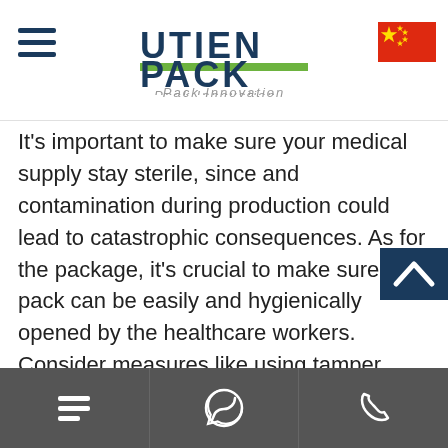UTIEN PACK - Pack Innovation
It's important to make sure your medical supply stay sterile, since and contamination during production could lead to catastrophic consequences. As for the package, it's crucial to make sure the pack can be easily and hygienically opened by the healthcare workers. Consider measures like using tamper evident materials and a packaging designed to guarantee a sterile syringe upon opening. Moreover,your medical packaging may need to undergo sterilization techniques such as steam treatments, use of gases, and Gamma or E-Beam radiation. Ease of sterilization for the machine and packages is a priority when considering your packaging machine.
Menu | WhatsApp | Phone